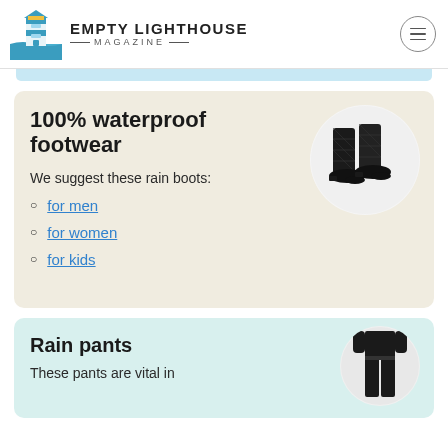EMPTY LIGHTHOUSE MAGAZINE
100% waterproof footwear
We suggest these rain boots:
for men
for women
for kids
[Figure (photo): Black quilted rain boots on white circular background]
Rain pants
These pants are vital in
[Figure (photo): Person wearing black rain pants on circular background]